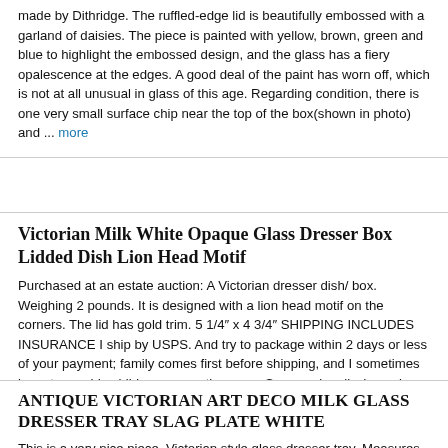made by Dithridge. The ruffled-edge lid is beautifully embossed with a garland of daisies. The piece is painted with yellow, brown, green and blue to highlight the embossed design, and the glass has a fiery opalescence at the edges. A good deal of the paint has worn off, which is not at all unusual in glass of this age. Regarding condition, there is one very small surface chip near the top of the box(shown in photo) and ... more
Victorian Milk White Opaque Glass Dresser Box Lidded Dish Lion Head Motif
Purchased at an estate auction: A Victorian dresser dish/ box. Weighing 2 pounds. It is designed with a lion head motif on the corners. The lid has gold trim. 5 1/4" x 4 3/4" SHIPPING INCLUDES INSURANCE I ship by USPS. And try to package within 2 days or less of your payment; family comes first before shipping, and I sometimes have to provide child care or mother care. So occasionally, I may be forced to adhere to the 5 day shipping time stated in my listing. POSTAL RATES have increased dramatically. This is reflected in my charges for shipping; if by chance I over charge, I will reimburse your paypal account the excess. You will receive an email when your item has shipped; this will include a tracking number which you may want to use if you think your item is lost. Please remember the ebay seller is not responsible for USPS's ... more
ANTIQUE VICTORIAN ART DECO MILK GLASS DRESSER TRAY SLAG PLATE WHITE
This is a very nice piece. Victorian style glass dresser tray. Measures 9" x 4 1/4" There is a tiny chip. See picture 3. Sits a little off level, made